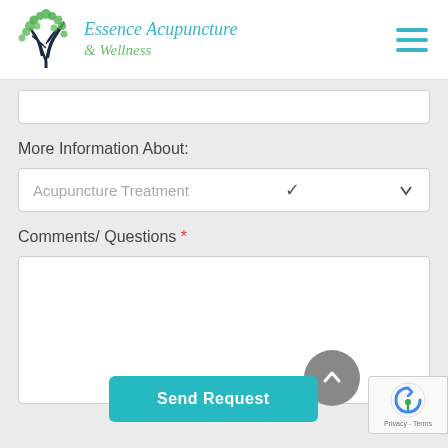[Figure (logo): Essence Acupuncture & Wellness logo with tree illustration and teal/green cursive text]
More Information About:
Acupuncture Treatment
Comments/ Questions *
Send Request